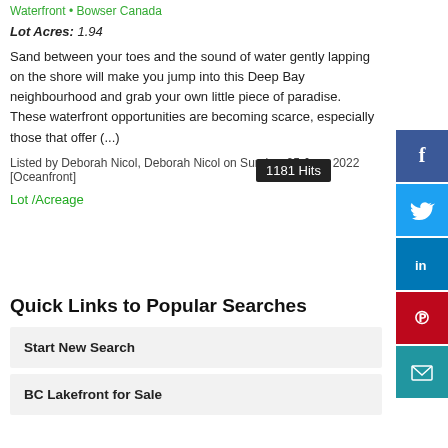Waterfront • Bowser Canada
Lot Acres: 1.94
Sand between your toes and the sound of water gently lapping on the shore will make you jump into this Deep Bay neighbourhood and grab your own little piece of paradise. These waterfront opportunities are becoming scarce, especially those that offer (...)
Listed by Deborah Nicol, Deborah Nicol on Sunday, 05 June 2022 [Oceanfront]
Lot /Acreage
1181 Hits
Quick Links to Popular Searches
Start New Search
BC Lakefront for Sale